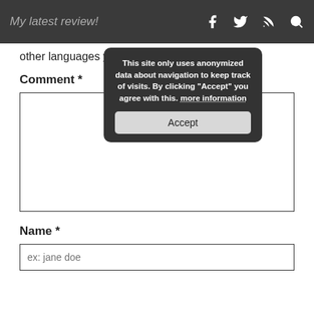My latest review!
other languages will be deleted. Thank you!
Comment *
[Figure (screenshot): Empty comment textarea input box]
[Figure (infographic): Cookie consent popup: 'This site only uses anonymized data about navigation to keep track of visits. By clicking "Accept" you agree with this. more information' with an Accept button]
Name *
[Figure (screenshot): Name input field with placeholder text 'ex: jane doe']